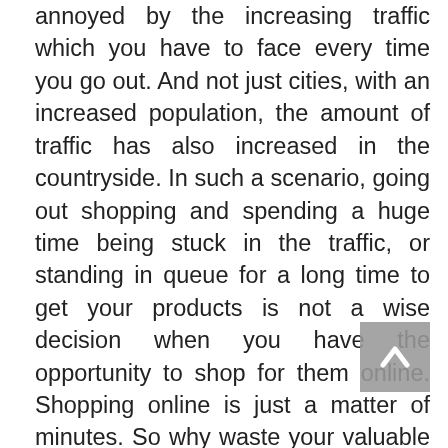annoyed by the increasing traffic which you have to face every time you go out. And not just cities, with an increased population, the amount of traffic has also increased in the countryside. In such a scenario, going out shopping and spending a huge time being stuck in the traffic, or standing in queue for a long time to get your products is not a wise decision when you have the opportunity to shop for them online. Shopping online is just a matter of minutes. So why waste your valuable time, when you can get your products delivered to your doorstep with just the click of a finger?

Opting to buy online from Organic